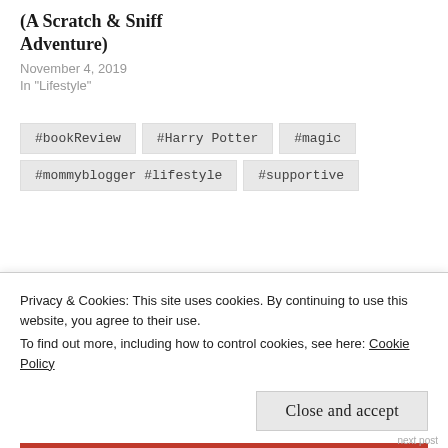(A Scratch & Sniff Adventure)
November 4, 2019
In "Lifestyle"
#bookReview
#Harry Potter
#magic
#mommyblogger #lifestyle
#supportive
Privacy & Cookies: This site uses cookies. By continuing to use this website, you agree to their use.
To find out more, including how to control cookies, see here: Cookie Policy
Close and accept